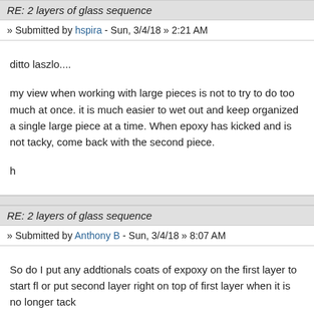RE: 2 layers of glass sequence
» Submitted by hspira - Sun, 3/4/18 » 2:21 AM
ditto laszlo....

my view when working with large pieces is not to try to do too much at once. it is much easier to wet out and keep organized a single large piece at a time. When epoxy has kicked and is not tacky, come back with the second piece.

h
RE: 2 layers of glass sequence
» Submitted by Anthony B - Sun, 3/4/18 » 8:07 AM
So do I put any addtionals coats of expoxy on the first layer to start f or put second layer right on top of first layer when it is no longer tack